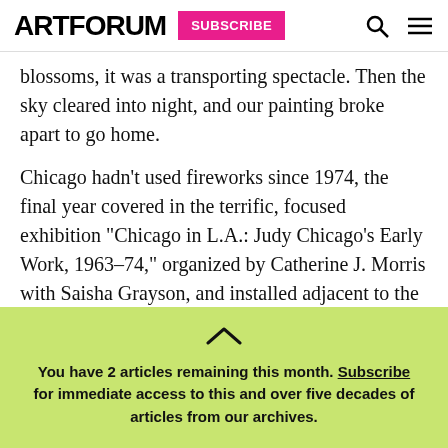ARTFORUM  SUBSCRIBE
blossoms, it was a transporting spectacle. Then the sky cleared into night, and our painting broke apart to go home.
Chicago hadn't used fireworks since 1974, the final year covered in the terrific, focused exhibition “Chicago in L.A.: Judy Chicago’s Early Work, 1963–74,” organized by Catherine J. Morris with Saisha Grayson, and installed adjacent to the high drama of the artist’s most famous piece, The Dinner Party,
You have 2 articles remaining this month. Subscribe for immediate access to this and over five decades of articles from our archives.